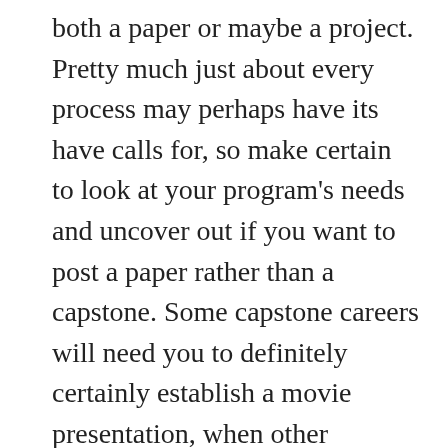both a paper or maybe a project. Pretty much just about every process may perhaps have its have calls for, so make certain to look at your program's needs and uncover out if you want to post a paper rather than a capstone. Some capstone careers will need you to definitely certainly establish a movie presentation, when other individuals need you to definitely surely deliver an architectural structure or an show. In almost any scenario, you will will require to submit a paper to present your facts and comprehending of the selected matter.